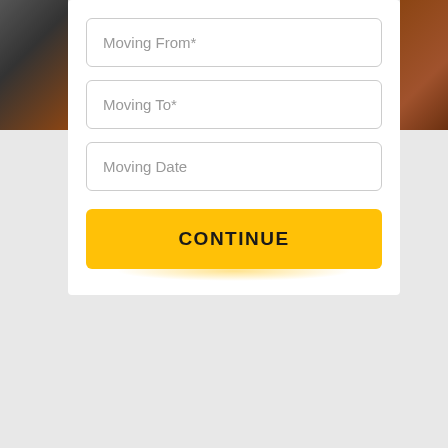[Figure (screenshot): Web form screenshot with dark photo strips on top-left and top-right corners, white form card with three input fields and a yellow CONTINUE button]
Moving From*
Moving To*
Moving Date
CONTINUE